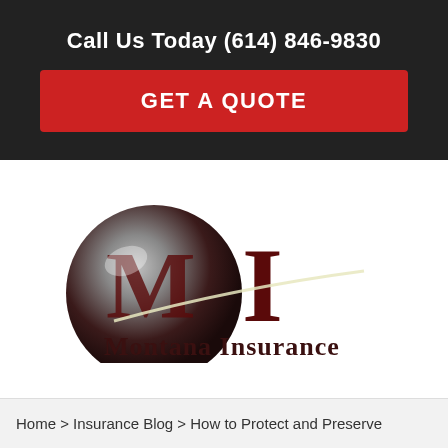Call Us Today (614) 846-9830
GET A QUOTE
[Figure (logo): Montana Insurance logo with stylized MI letters on dark sphere and company name]
MENU
Home > Insurance Blog > How to Protect and Preserve